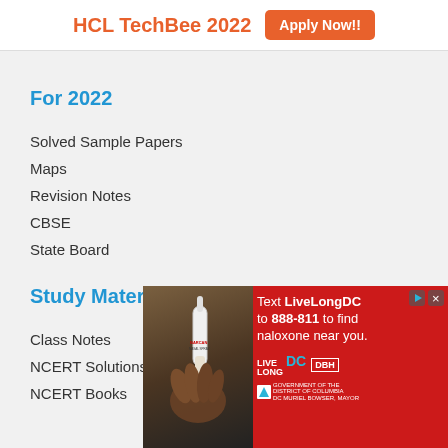HCL TechBee 2022  Apply Now!!
For 2022
Solved Sample Papers
Maps
Revision Notes
CBSE
State Board
Study Material
Class Notes
NCERT Solutions
NCERT Books
[Figure (photo): Advertisement banner: Text LiveLongDC to 888-811 to find naloxone near you. LiveLong DC DBH DC Government logo. Shows a hand holding a nasal spray.]